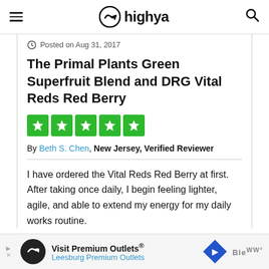highya
Posted on Aug 31, 2017
The Primal Plants Green Superfruit Blend and DRG Vital Reds Red Berry
[Figure (other): Five green star rating boxes]
By Beth S. Chen, New Jersey, Verified Reviewer
I have ordered the Vital Reds Red Berry at first. After taking once daily, I begin feeling lighter, agile, and able to extend my energy for my daily works routine.
[Figure (other): Advertisement banner: Visit Premium Outlets® Leesburg Premium Outlets]